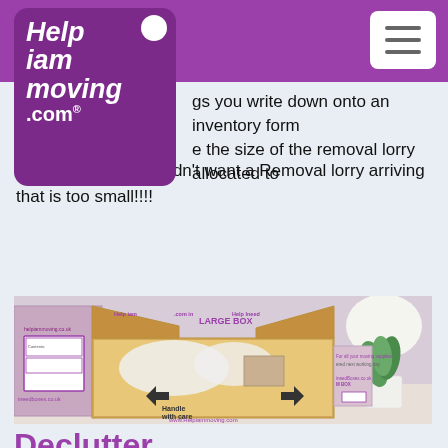Help iam moving .com
gs you write down onto an inventory form e the size of the removal lorry allocated to your move. You wouldn't want a Removal lorry arriving that is too small!!!!
[Figure (photo): Photo of moving boxes labeled 'LARGE BOX' and 'Handle with care' with www.Helpiammoving.com branding, alongside packing materials and a plant.]
Declutter